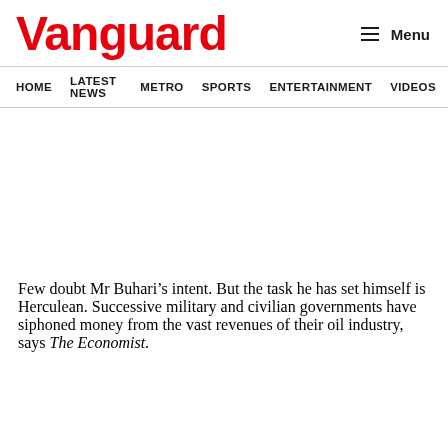Vanguard
HOME  LATEST NEWS  METRO  SPORTS  ENTERTAINMENT  VIDEOS
Few doubt Mr Buhari’s intent. But the task he has set himself is Herculean. Successive military and civilian governments have siphoned money from the vast revenues of their oil industry, says The Economist.